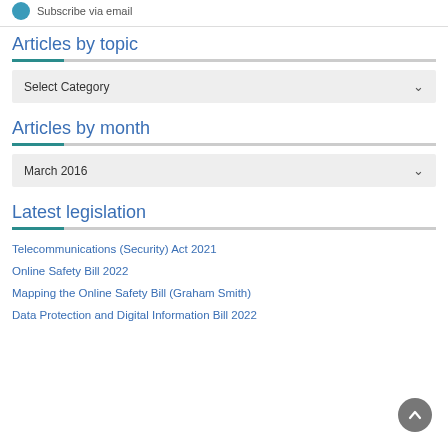Subscribe via email
Articles by topic
Select Category
Articles by month
March 2016
Latest legislation
Telecommunications (Security) Act 2021
Online Safety Bill 2022
Mapping the Online Safety Bill (Graham Smith)
Data Protection and Digital Information Bill 2022